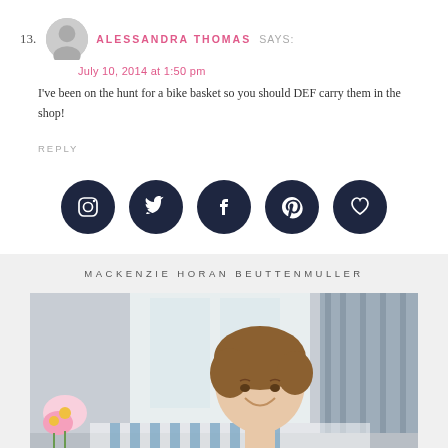13. ALESSANDRA THOMAS SAYS:
July 10, 2014 at 1:50 pm
I've been on the hunt for a bike basket so you should DEF carry them in the shop!
REPLY
[Figure (infographic): Five dark navy circular social media icon buttons: Instagram, Twitter, Facebook, Pinterest, and a heart/bloglovin icon]
MACKENZIE HORAN BEUTTENMULLER
[Figure (photo): Portrait photo of a smiling young woman with brown hair in an updo, sitting in a blue and white striped chair, with pink flowers (lilies) in the foreground and a bright window behind her]